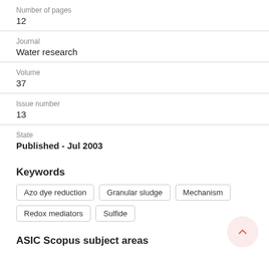Number of pages
12
Journal
Water research
Volume
37
Issue number
13
State
Published - Jul 2003
Keywords
Azo dye reduction
Granular sludge
Mechanism
Redox mediators
Sulfide
ASIC Scopus subject areas